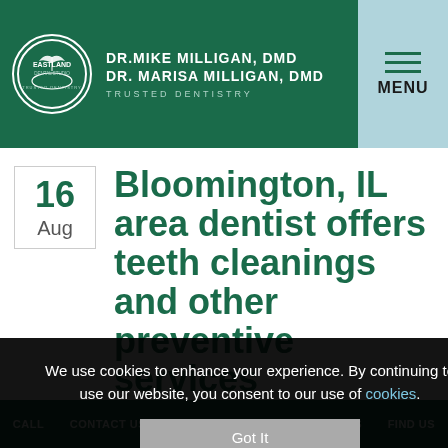[Figure (logo): Eastland Dental logo with two doctors names and Trusted Dentistry tagline in green header]
Bloomington, IL area dentist offers teeth cleanings and other preventive services
16 Aug
We use cookies to enhance your experience. By continuing to use our website, you consent to our use of cookies.
Got It
When patients in the Bloomington, IL area are interested in preventive services at the dentist, the first thing they think
CALL   CONTACT US   APPOINTMENT   TREATMENTS   FIND US